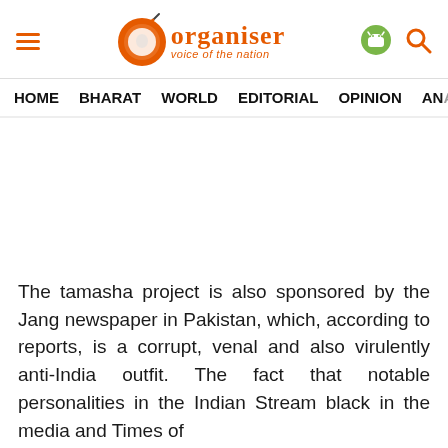Organiser — voice of the nation
HOME   BHARAT   WORLD   EDITORIAL   OPINION   ANA
The tamasha project is also sponsored by the Jang newspaper in Pakistan, which, according to reports, is a corrupt, venal and also virulently anti-India outfit. The fact that notable personalities in the Indian Stream black in the media and Times of